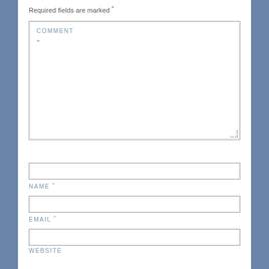Required fields are marked *
COMMENT *
NAME *
EMAIL *
WEBSITE